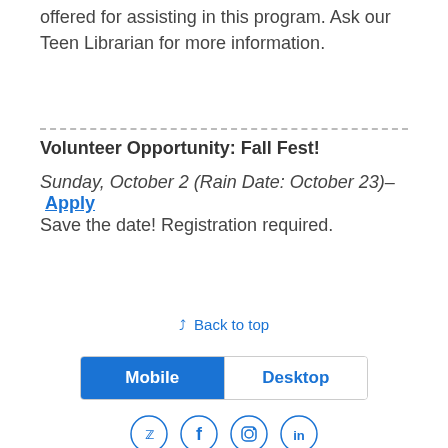offered for assisting in this program. Ask our Teen Librarian for more information.
Volunteer Opportunity: Fall Fest!
Sunday, October 2 (Rain Date: October 23)– Apply
Save the date! Registration required.
⋀ Back to top
[Figure (screenshot): Mobile/Desktop tab switcher with Mobile tab selected in blue]
[Figure (infographic): Social media icons: Twitter, Facebook, Instagram, LinkedIn in circular outlines]